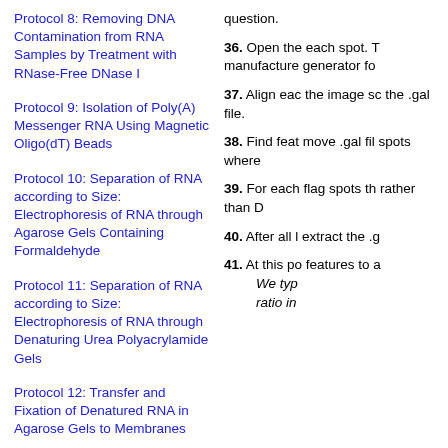Protocol 8: Removing DNA Contamination from RNA Samples by Treatment with RNase-Free DNase I
Protocol 9: Isolation of Poly(A) Messenger RNA Using Magnetic Oligo(dT) Beads
Protocol 10: Separation of RNA according to Size: Electrophoresis of RNA through Agarose Gels Containing Formaldehyde
Protocol 11: Separation of RNA according to Size: Electrophoresis of RNA through Denaturing Urea Polyacrylamide Gels
Protocol 12: Transfer and Fixation of Denatured RNA in Agarose Gels to Membranes
Protocol 13: Transfer and Fixation of Denatured RNA in Polyacrylamide Gels to Membranes by Electrophoretic Transfer
Protocol 14: Northern Hybridization
question.
36. Open the each spot. T manufacture generator fo
37. Align eac the image sc the .gal file.
38. Find feat move .gal fil spots where
39. For each flag spots th rather than D
40. After all l extract the .g
41. At this po features to a We typ ratio in